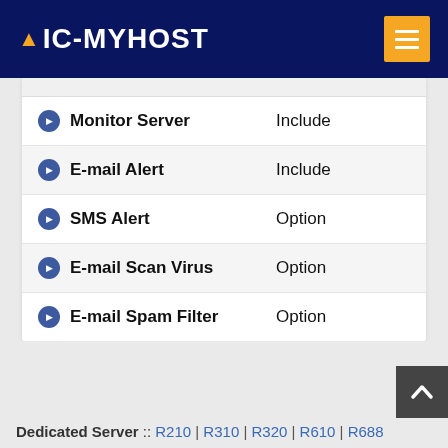IC-MYHOST
| Feature | Value |
| --- | --- |
| Monitor Server | Include |
| E-mail Alert | Include |
| SMS Alert | Option |
| E-mail Scan Virus | Option |
| E-mail Spam Filter | Option |
Dedicated Server :: R210 | R310 | R320 | R610 | R688 dedicated server | thailand dedicated | thailand dedicated server | host dedicated server | linux...